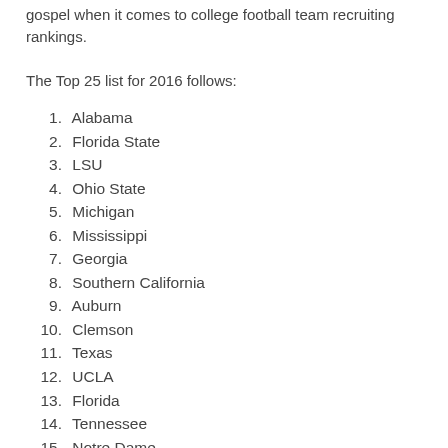gospel when it comes to college football team recruiting rankings.
The Top 25 list for 2016 follows:
1. Alabama
2. Florida State
3. LSU
4. Ohio State
5. Michigan
6. Mississippi
7. Georgia
8. Southern California
9. Auburn
10. Clemson
11. Texas
12. UCLA
13. Florida
14. Tennessee
15. Notre Dame